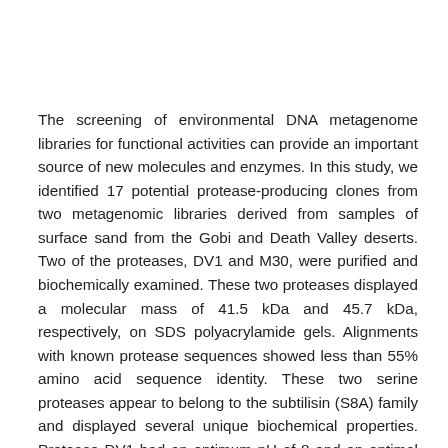The screening of environmental DNA metagenome libraries for functional activities can provide an important source of new molecules and enzymes. In this study, we identified 17 potential protease-producing clones from two metagenomic libraries derived from samples of surface sand from the Gobi and Death Valley deserts. Two of the proteases, DV1 and M30, were purified and biochemically examined. These two proteases displayed a molecular mass of 41.5 kDa and 45.7 kDa, respectively, on SDS polyacrylamide gels. Alignments with known protease sequences showed less than 55% amino acid sequence identity. These two serine proteases appear to belong to the subtilisin (S8A) family and displayed several unique biochemical properties. Protease DV1 had an optimum pH of 8 and an optimal activity at 55°C, while protease M30 had an optimum pH >11 and optimal activity at 40°C. The properties of these enzymes make them potentially useful for biotechnological applications and again demonstrate that metagenomic approaches can be useful, especially when coupled with the study of novel environments such as deserts